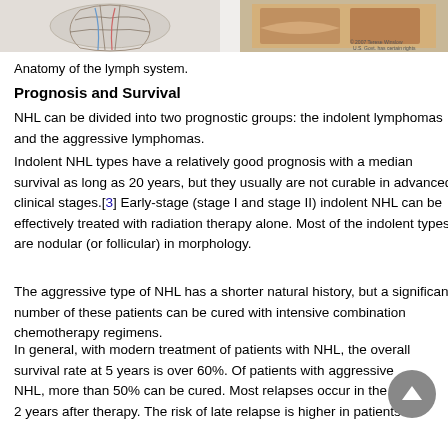[Figure (illustration): Partial view of anatomy of the lymph system illustration images at top of page]
Anatomy of the lymph system.
Prognosis and Survival
NHL can be divided into two prognostic groups: the indolent lymphomas and the aggressive lymphomas.
Indolent NHL types have a relatively good prognosis with a median survival as long as 20 years, but they usually are not curable in advanced clinical stages.[3] Early-stage (stage I and stage II) indolent NHL can be effectively treated with radiation therapy alone. Most of the indolent types are nodular (or follicular) in morphology.
The aggressive type of NHL has a shorter natural history, but a significant number of these patients can be cured with intensive combination chemotherapy regimens.
In general, with modern treatment of patients with NHL, the overall survival rate at 5 years is over 60%. Of patients with aggressive NHL, more than 50% can be cured. Most relapses occur in the first 2 years after therapy. The risk of late relapse is higher in patients...